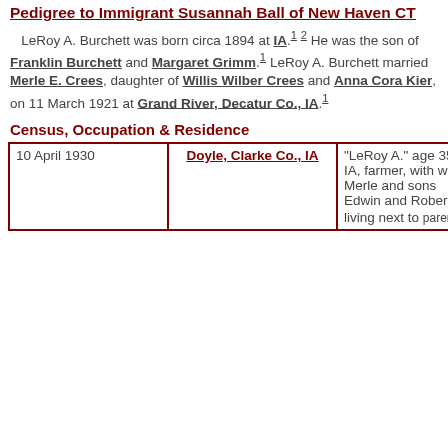Pedigree to Immigrant Susannah Ball of New Haven CT
LeRoy A. Burchett was born circa 1894 at IA.[1][2] He was the son of Franklin Burchett and Margaret Grimm.[1] LeRoy A. Burchett married Merle E. Crees, daughter of Willis Wilber Crees and Anna Cora Kier, on 11 March 1921 at Grand River, Decatur Co., IA.[1]
Census, Occupation & Residence
| Date | Location | Description |
| --- | --- | --- |
| 10 April 1930 | Doyle, Clarke Co., IA | "LeRoy A." age 35, b. IA, farmer, with wife Merle and sons Edwin and Robert; living next to parents[2] |